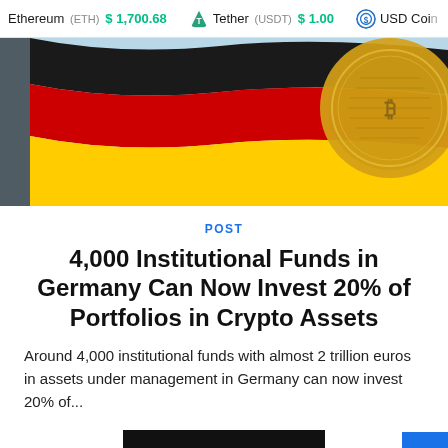Ethereum (ETH) $1,700.68   Tether (USDT) $1.00   USD Coin
[Figure (photo): German flag in red, black and yellow with a gold cryptocurrency coin overlaid on the right side against a light blue sky background.]
POST
4,000 Institutional Funds in Germany Can Now Invest 20% of Portfolios in Crypto Assets
Around 4,000 institutional funds with almost 2 trillion euros in assets under management in Germany can now invest 20% of...